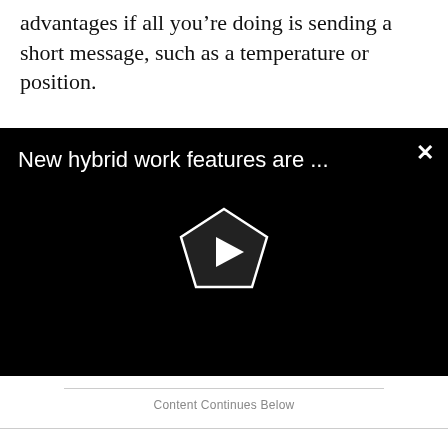advantages if all you’re doing is sending a short message, such as a temperature or position.
[Figure (screenshot): Black video player widget with title 'New hybrid work features are ...' in white text, a close (X) button in the top right, and a pentagon-shaped play button centered on the black background.]
Content Continues Below